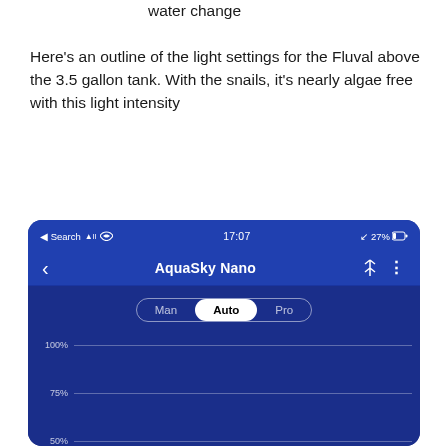water change
Here's an outline of the light settings for the Fluval above the 3.5 gallon tank. With the snails, it's nearly algae free with this light intensity
[Figure (screenshot): Mobile app screenshot showing AquaSky Nano light controller with status bar (17:07, 27%), navigation header with back arrow, Bluetooth icon, and three-dot menu. Shows Man/Auto/Pro segment control with Auto selected, and a graph area with 100%, 75%, 50% gridlines and a range slider at the bottom.]